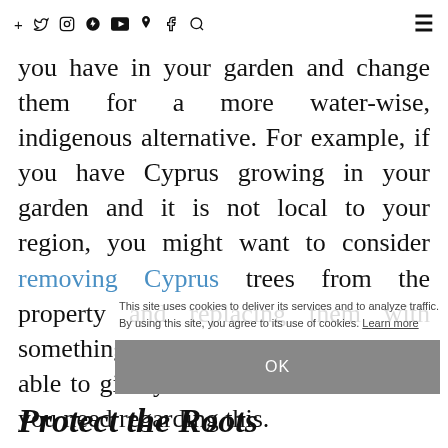Social media icons and hamburger menu
you have in your garden and change them for a more water-wise, indigenous alternative. For example, if you have Cyprus growing in your garden and it is not local to your region, you might want to consider removing Cyprus trees from the property and replacing them with something else. A local nursery will be able to give you all of the information you need regarding this.
This site uses cookies to deliver its services and to analyze traffic. By using this site, you agree to its use of cookies. Learn more
OK
Protect the Roots